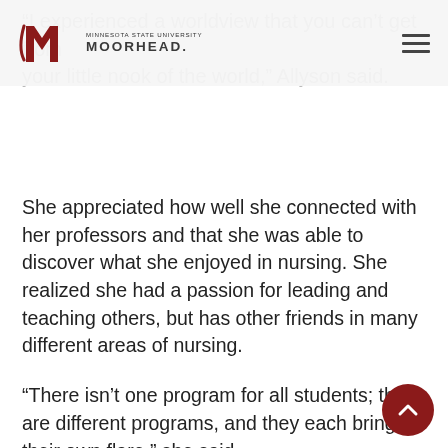MINNESOTA STATE UNIVERSITY MOORHEAD
“I experienced a worldview that you can’t get from your little nook of the world,” Allyson said.
She appreciated how well she connected with her professors and that she was able to discover what she enjoyed in nursing. She realized she had a passion for leading and teaching others, but has other friends in many different areas of nursing.
“There isn’t one program for all students; there are different programs, and they each bring their own flare,” she said.
Allyson also co-leads the American Holistic Nurses Association Chapter for the Red River Valley with Alicia Swanson, program coordinator and associate professor in MSUM’s School of Nursing & Healthcare Leadership. They provide opportunities for nurses and others to continue learning about